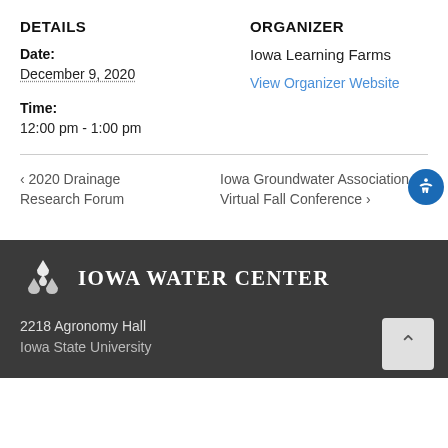DETAILS
ORGANIZER
Date:
December 9, 2020
Iowa Learning Farms
View Organizer Website
Time:
12:00 pm - 1:00 pm
‹ 2020 Drainage Research Forum
Iowa Groundwater Association Virtual Fall Conference ›
[Figure (logo): Iowa Water Center logo with water drop diamond pattern and text]
2218 Agronomy Hall